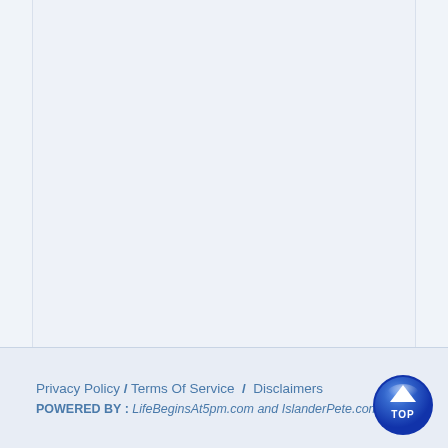Privacy Policy / Terms Of Service / Disclaimers
POWERED BY : LifeBeginsAt5pm.com and IslanderPete.com
[Figure (illustration): A circular blue glossy button with a white upward-pointing triangle arrow and the text 'TOP' in white beneath it, positioned in the bottom-right corner of the page.]